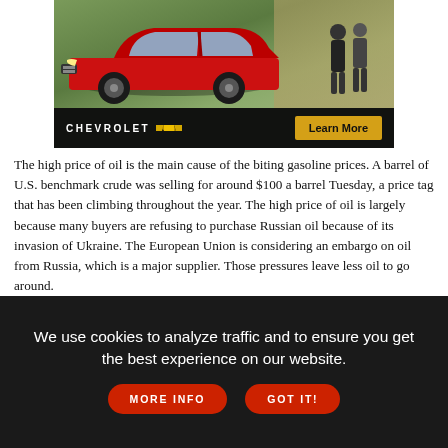[Figure (photo): Chevrolet advertisement showing a red SUV (Equinox) parked outdoors with two people in the background. Bottom bar has CHEVROLET logo with bowtie emblem and a 'Learn More' yellow button.]
The high price of oil is the main cause of the biting gasoline prices. A barrel of U.S. benchmark crude was selling for around $100 a barrel Tuesday, a price tag that has been climbing throughout the year. The high price of oil is largely because many buyers are refusing to purchase Russian oil because of its invasion of Ukraine. The European Union is considering an embargo on oil from Russia, which is a major supplier. Those pressures leave less oil to go around.
[Figure (photo): Explore Buffalo advertisement banner with colorful text and logo.]
We use cookies to analyze traffic and to ensure you get the best experience on our website.
MORE INFO
GOT IT!